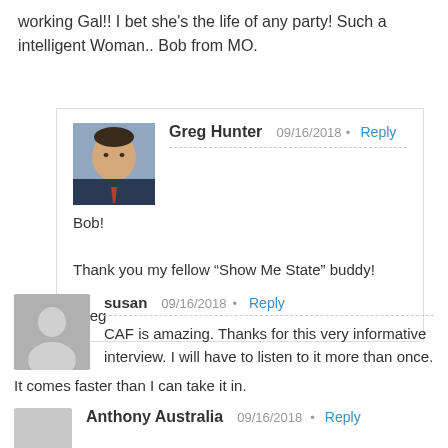working Gal!! I bet she's the life of any party! Such a intelligent Woman.. Bob from MO.
Greg Hunter 09/16/2018 Reply
Bob!
Thank you my fellow “Show Me State” buddy!
Greg
susan 09/16/2018 Reply
CAF is amazing. Thanks for this very informative interview. I will have to listen to it more than once. It comes faster than I can take it in.
Anthony Australia 09/16/2018 Reply